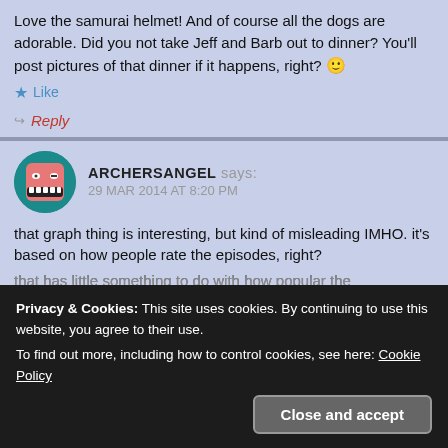Love the samurai helmet! And of course all the dogs are adorable. Did you not take Jeff and Barb out to dinner? You'll post pictures of that dinner if it happens, right? 😊
Like
Reply
ARCHERSANGEL says: 29 MAR 2014 AT 8:20 PM
that graph thing is interesting, but kind of misleading IMHO. it's based on how people rate the episodes, right? that has little something to do with how popular the
Privacy & Cookies: This site uses cookies. By continuing to use this website, you agree to their use.
To find out more, including how to control cookies, see here: Cookie Policy
Close and accept
Reply